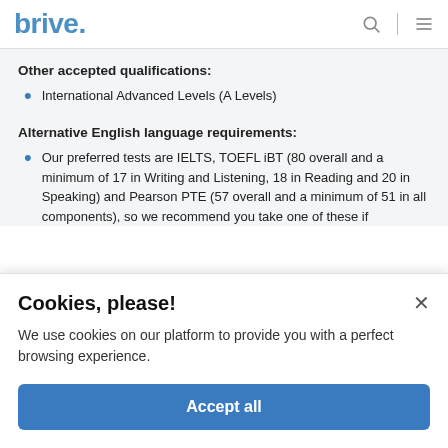brive.
Other accepted qualifications:
International Advanced Levels (A Levels)
Alternative English language requirements:
Our preferred tests are IELTS, TOEFL iBT (80 overall and a minimum of 17 in Writing and Listening, 18 in Reading and 20 in Speaking) and Pearson PTE (57 overall and a minimum of 51 in all components), so we recommend you take one of these if
Cookies, please!
We use cookies on our platform to provide you with a perfect browsing experience.
Accept all